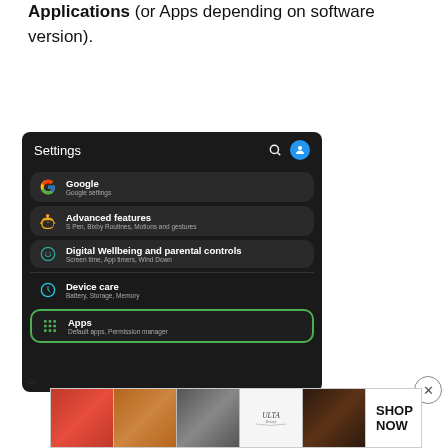Go to the Settings on your phone and tap on Applications (or Apps depending on software version).
[Figure (screenshot): Android phone Settings screen showing menu items: Google, Advanced features, Digital Wellbeing and parental controls, Device care, and Apps (highlighted with green border). Search icon and blue avatar icon appear in the header.]
[Figure (photo): ULTA Beauty advertisement banner showing makeup product images and a SHOP NOW button.]